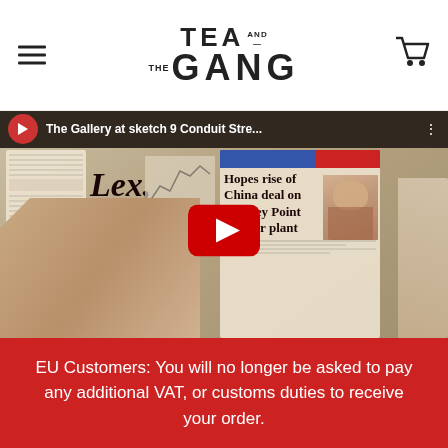[Figure (logo): Tea and the Gang logo with hamburger menu icon and shopping cart icon]
[Figure (screenshot): YouTube video thumbnail showing a person holding a newspaper with visible headline 'Hopes rise of China deal on Hinkley Point nuclear plant' and 'Lex.' visible on newspaper. YouTube play button overlay. Video title bar reads 'The Gallery at sketch 9 Conduit Stre...']
EU Customers: You will no longer be asked to pay any additional VAT, or customs duties to receive your order.